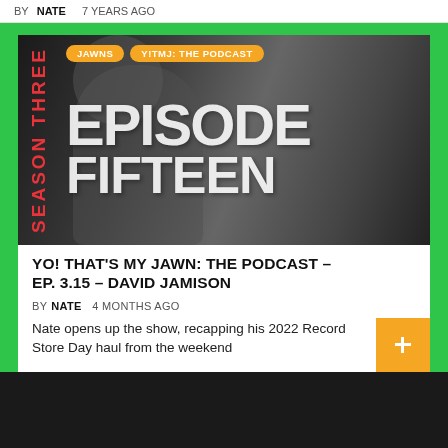BY NATE   7 YEARS AGO
[Figure (photo): Podcast thumbnail image showing a person in black and white with large white text overlay reading EPISODE FIFTEEN, red vertical text reading SEASON THREE on the left side, and orange tag labels JAWNS and Y!TMJ: THE PODCAST in the top left corner.]
YO! THAT'S MY JAWN: THE PODCAST – EP. 3.15 – DAVID JAMISON
BY NATE   4 MONTHS AGO
Nate opens up the show, recapping his 2022 Record Store Day haul from the weekend